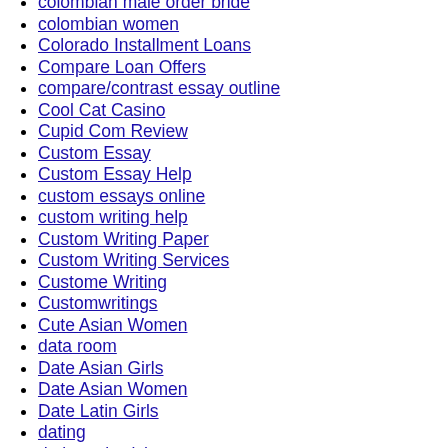colombian male order bride
colombian women
Colorado Installment Loans
Compare Loan Offers
compare/contrast essay outline
Cool Cat Casino
Cupid Com Review
Custom Essay
Custom Essay Help
custom essays online
custom writing help
Custom Writing Paper
Custom Writing Services
Custome Writing
Customwritings
Cute Asian Women
data room
Date Asian Girls
Date Asian Women
Date Latin Girls
dating
dating a jewish man
Dating An Asian Girl
Dating Asian Girls
dating asian women